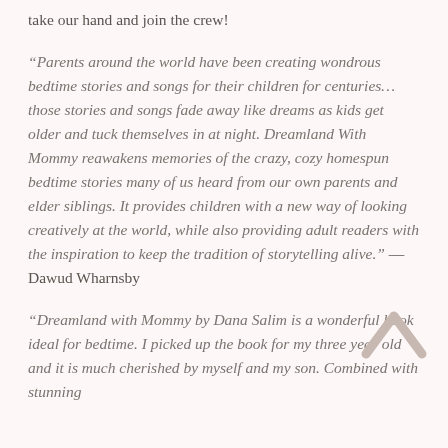take our hand and join the crew!
“Parents around the world have been creating wondrous bedtime stories and songs for their children for centuries… those stories and songs fade away like dreams as kids get older and tuck themselves in at night. Dreamland With Mommy reawakens memories of the crazy, cozy homespun bedtime stories many of us heard from our own parents and elder siblings. It provides children with a new way of looking creatively at the world, while also providing adult readers with the inspiration to keep the tradition of storytelling alive.” — Dawud Wharnsby
“Dreamland with Mommy by Dana Salim is a wonderful book ideal for bedtime. I picked up the book for my three year old and it is much cherished by myself and my son. Combined with stunning